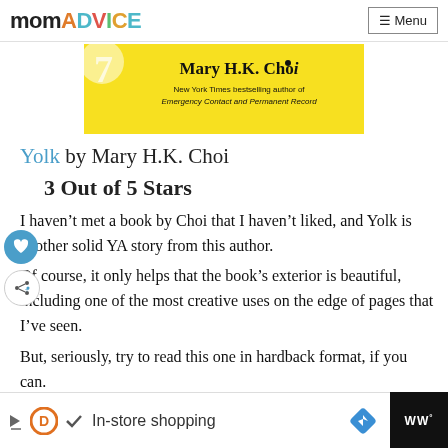momADVICE | Menu
[Figure (illustration): Book cover for Yolk by Mary H.K. Choi on yellow background with author name and subtitle 'New York Times bestselling author of Emergency Contact and Permanent Record']
Yolk by Mary H.K. Choi
3 Out of 5 Stars
I haven't met a book by Choi that I haven't liked, and Yolk is another solid YA story from this author.
Of course, it only helps that the book's exterior is beautiful, including one of the most creative uses on the edge of pages that I've seen.
But, seriously, try to read this one in hardback format, if you can.
In-store shopping (advertisement bar)